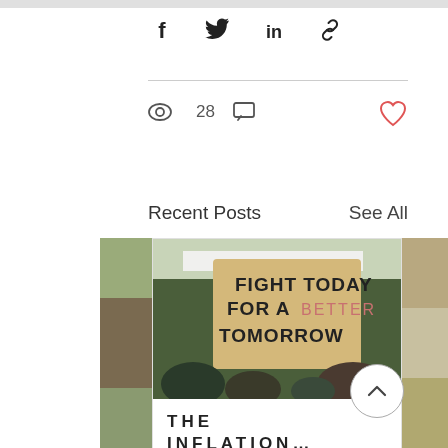[Figure (infographic): Social media post UI with share icons (Facebook, Twitter, LinkedIn, link), view count 28, comment icon, red heart like button]
28
Recent Posts
See All
[Figure (photo): Photo of protest sign reading 'FIGHT TODAY FOR A BETTER TOMORROW']
THE INFLATION...
10  0